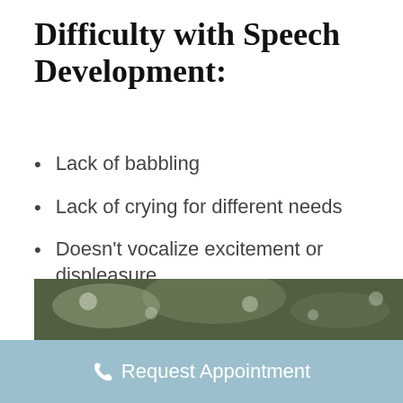Difficulty with Speech Development:
Lack of babbling
Lack of crying for different needs
Doesn't vocalize excitement or displeasure
Around 7 months to a year, hasn't spoken one or two words
[Figure (photo): Blurred outdoor photo showing greenery/bokeh background]
Request Appointment